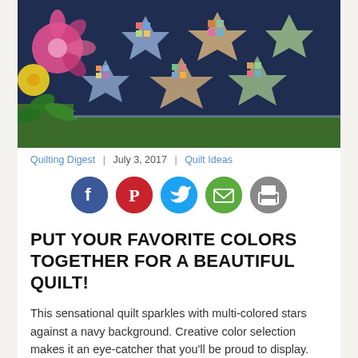[Figure (photo): A colorful quilt with multi-colored star patterns on a navy background, displayed with pink and yellow flowers on grass.]
Quilting Digest | July 3, 2017 | Quilt Ideas
[Figure (infographic): Row of five social media sharing icons: Facebook (blue circle), Pinterest (red circle), Twitter (light blue circle), Email (green circle), Print (grey circle).]
PUT YOUR FAVORITE COLORS TOGETHER FOR A BEAUTIFUL QUILT!
This sensational quilt sparkles with multi-colored stars against a navy background. Creative color selection makes it an eye-catcher that you'll be proud to display.